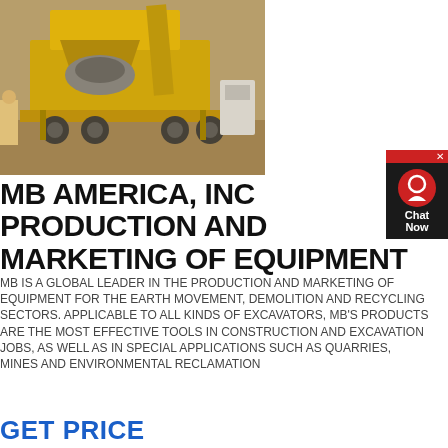[Figure (photo): Yellow heavy construction/mining equipment (crusher or screening plant) on a trailer at a quarry/construction site with workers and dust visible]
MB AMERICA, INC PRODUCTION AND MARKETING OF EQUIPMENT
MB IS A GLOBAL LEADER IN THE PRODUCTION AND MARKETING OF EQUIPMENT FOR THE EARTH MOVEMENT, DEMOLITION AND RECYCLING SECTORS. APPLICABLE TO ALL KINDS OF EXCAVATORS, MB'S PRODUCTS ARE THE MOST EFFECTIVE TOOLS IN CONSTRUCTION AND EXCAVATION JOBS, AS WELL AS IN SPECIAL APPLICATIONS SUCH AS QUARRIES, MINES AND ENVIRONMENTAL RECLAMATION
GET PRICE